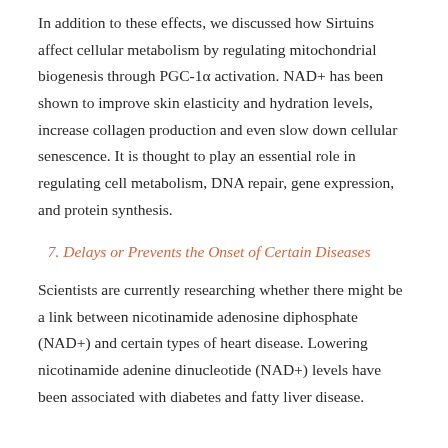In addition to these effects, we discussed how Sirtuins affect cellular metabolism by regulating mitochondrial biogenesis through PGC-1α activation. NAD+ has been shown to improve skin elasticity and hydration levels, increase collagen production and even slow down cellular senescence. It is thought to play an essential role in regulating cell metabolism, DNA repair, gene expression, and protein synthesis.
7. Delays or Prevents the Onset of Certain Diseases
Scientists are currently researching whether there might be a link between nicotinamide adenosine diphosphate (NAD+) and certain types of heart disease. Lowering nicotinamide adenine dinucleotide (NAD+) levels have been associated with diabetes and fatty liver disease.